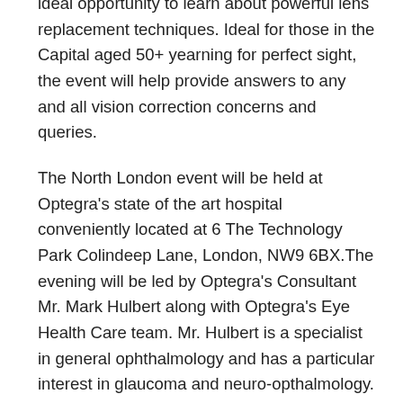ideal opportunity to learn about powerful lens replacement techniques. Ideal for those in the Capital aged 50+ yearning for perfect sight, the event will help provide answers to any and all vision correction concerns and queries.
The North London event will be held at Optegra's state of the art hospital conveniently located at 6 The Technology Park Colindeep Lane, London, NW9 6BX.The evening will be led by Optegra's Consultant Mr. Mark Hulbert along with Optegra's Eye Health Care team. Mr. Hulbert is a specialist in general ophthalmology and has a particular interest in glaucoma and neuro-opthalmology.
The informal structure of the North London event encourages attendees to clarify doubts and